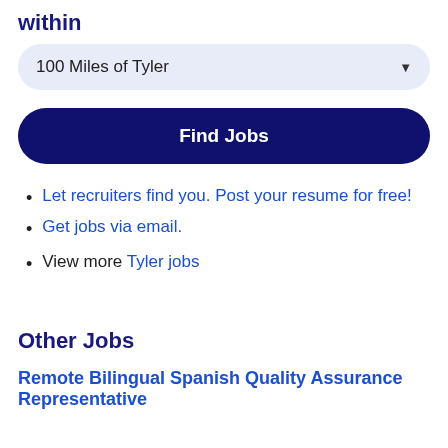within
100 Miles of Tyler
Find Jobs
Let recruiters find you. Post your resume for free!
Get jobs via email.
View more Tyler jobs
Other Jobs
Remote Bilingual Spanish Quality Assurance Representative